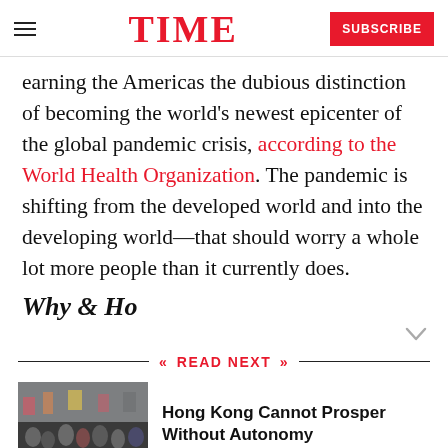TIME | SUBSCRIBE
earning the Americas the dubious distinction of becoming the world's newest epicenter of the global pandemic crisis, according to the World Health Organization. The pandemic is shifting from the developed world and into the developing world—that should worry a whole lot more people than it currently does.
Why & Ho...
«  READ NEXT  »
[Figure (photo): Protest scene with crowd of people, appears to show Hong Kong protest]
Hong Kong Cannot Prosper Without Autonomy